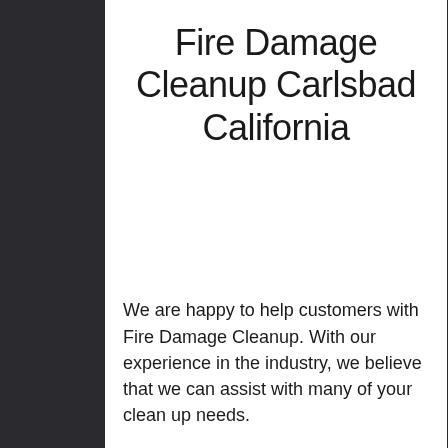Fire Damage Cleanup Carlsbad California
We are happy to help customers with Fire Damage Cleanup. With our experience in the industry, we believe that we can assist with many of your clean up needs.
We have over 30 years of experience in the restoration industry. We are well trained in all forms of fire damage.